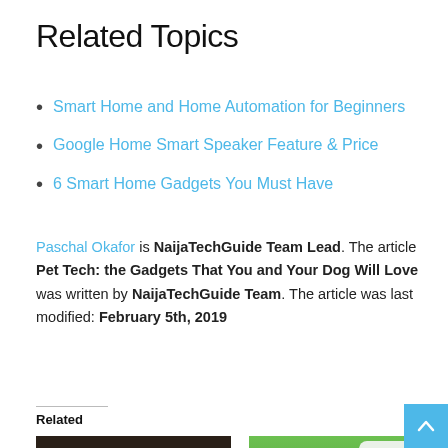Related Topics
Smart Home and Home Automation for Beginners
Google Home Smart Speaker Feature & Price
6 Smart Home Gadgets You Must Have
Paschal Okafor is NaijaTechGuide Team Lead. The article Pet Tech: the Gadgets That You and Your Dog Will Love was written by NaijaTechGuide Team. The article was last modified: February 5th, 2019
Related
[Figure (photo): Photo of a golden/brown puppy looking up]
[Figure (photo): Photo of a golden puppy with a person holding a smartphone with an app interface]